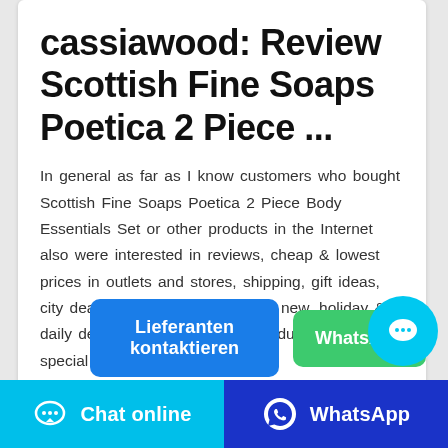cassiawood: Review Scottish Fine Soaps Poetica 2 Piece ...
In general as far as I know customers who bought Scottish Fine Soaps Poetica 2 Piece Body Essentials Set or other products in the Internet also were interested in reviews, cheap & lowest prices in outlets and stores, shipping, gift ideas, city deals, sales, coupons online, new, holiday & daily deals, bargain, best buy products including special ...
[Figure (other): Two action buttons: blue 'Lieferanten kontaktieren' button and green 'WhatsApp' button, with a cyan chat bubble circle icon on the right]
[Figure (other): Bottom bar with two sections: cyan 'Chat online' button with chat icon on left, dark blue 'WhatsApp' button with WhatsApp icon on right]